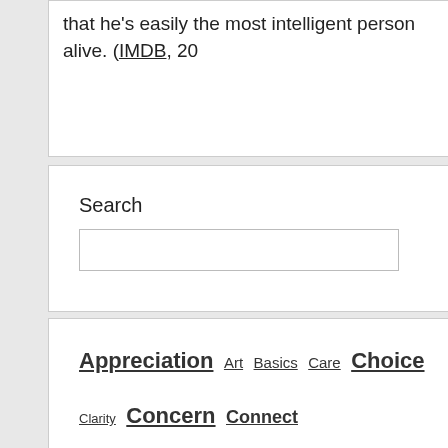that he's easily the most intelligent person alive. (IMDB, 20
Search
Appreciation Art Basics Care Choice Clarity Concern Connect Gratitude Help Honesty Hyper-Empathizing Innovation Isolation Jud Problem Solving Progress Relationship Resentment Respect Re Together Want